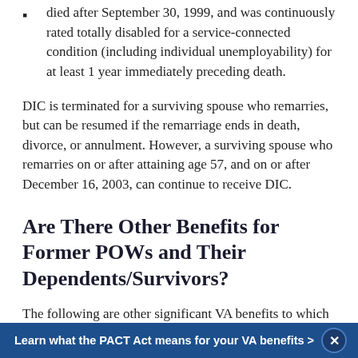died after September 30, 1999, and was continuously rated totally disabled for a service-connected condition (including individual unemployability) for at least 1 year immediately preceding death.
DIC is terminated for a surviving spouse who remarries, but can be resumed if the remarriage ends in death, divorce, or annulment. However, a surviving spouse who remarries on or after attaining age 57, and on or after December 16, 2003, can continue to receive DIC.
Are There Other Benefits for Former POWs and Their Dependents/Survivors?
The following are other significant VA benefits to which certain veterans may be entitled: disability pension, medical care,
Learn what the PACT Act means for your VA benefits >